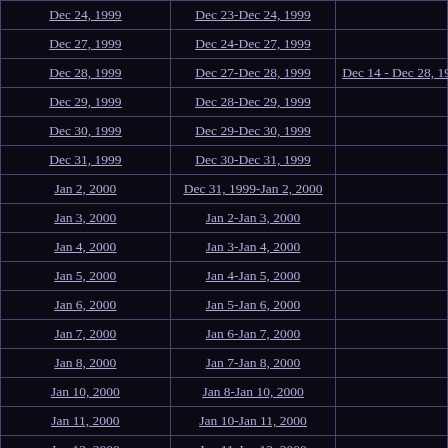| Date | Period | Range |
| --- | --- | --- |
| Dec 24, 1999 | Dec 23-Dec 24, 1999 |  |
| Dec 27, 1999 | Dec 24-Dec 27, 1999 |  |
| Dec 28, 1999 | Dec 27-Dec 28, 1999 | Dec 14 - Dec 28, 1999 |
| Dec 29, 1999 | Dec 28-Dec 29, 1999 |  |
| Dec 30, 1999 | Dec 29-Dec 30, 1999 |  |
| Dec 31, 1999 | Dec 30-Dec 31, 1999 |  |
| Jan 2, 2000 | Dec 31, 1999-Jan 2, 2000 |  |
| Jan 3, 2000 | Jan 2-Jan 3, 2000 |  |
| Jan 4, 2000 | Jan 3-Jan 4, 2000 |  |
| Jan 5, 2000 | Jan 4-Jan 5, 2000 |  |
| Jan 6, 2000 | Jan 5-Jan 6, 2000 |  |
| Jan 7, 2000 | Jan 6-Jan 7, 2000 |  |
| Jan 8, 2000 | Jan 7-Jan 8, 2000 |  |
| Jan 10, 2000 | Jan 8-Jan 10, 2000 |  |
| Jan 11, 2000 | Jan 10-Jan 11, 2000 |  |
| Jan 12, 2000 | Jan 11-Jan 12, 2000 |  |
| Jan 13, 2000 | Jan 12-Jan 13, 2000 |  |
| Jan 14, 2000 | Jan 13-Jan 14, 2000 |  |
| Jan 15, 2000 | Jan 14-Jan 15, 2000 |  |